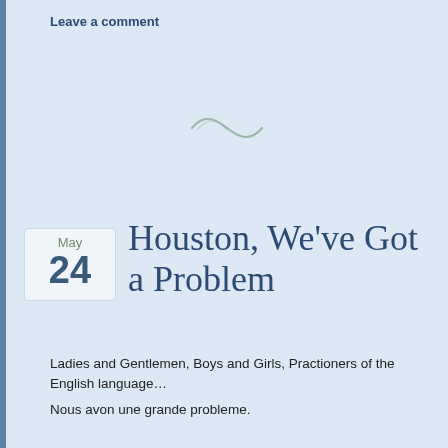Leave a comment
[Figure (illustration): Decorative tilde/swirl divider graphic in muted teal/sage color]
Houston, We've Got a Problem
Ladies and Gentlemen, Boys and Girls, Practioners of the English language…
Nous avon une grande probleme.
Wier haben eine grosse Problem. (Bigger even than auto correct's attempts to turn French and German into English)
[Figure (photo): A cropped photo of a person, mostly dark, appears at the bottom of the page]